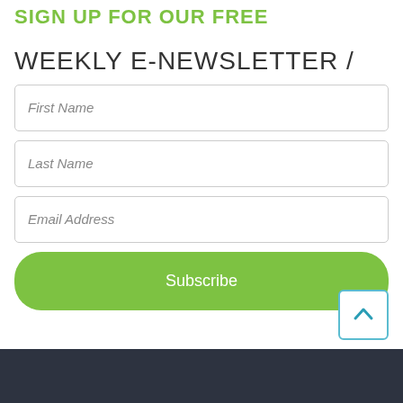SIGN UP FOR OUR FREE
WEEKLY E-NEWSLETTER /
First Name
Last Name
Email Address
Subscribe